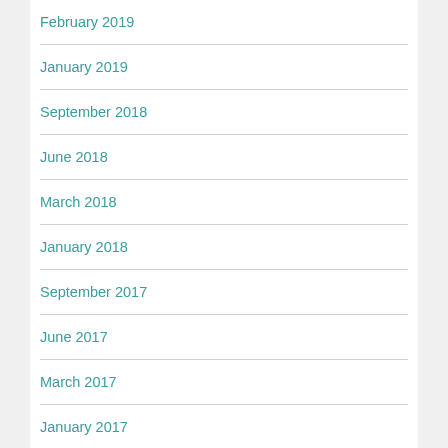February 2019
January 2019
September 2018
June 2018
March 2018
January 2018
September 2017
June 2017
March 2017
January 2017